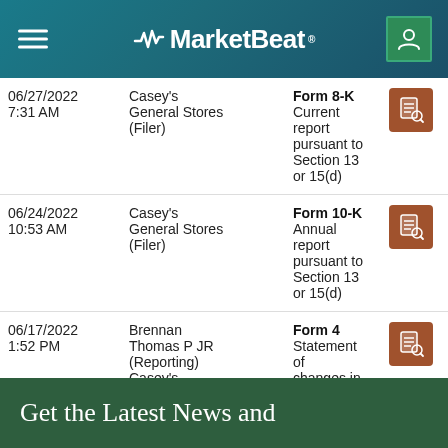MarketBeat
| Date | Filer | Form |  |
| --- | --- | --- | --- |
| 06/27/2022 7:31 AM | Casey's General Stores (Filer) | Form 8-K
Current report pursuant to Section 13 or 15(d) |  |
| 06/24/2022 10:53 AM | Casey's General Stores (Filer) | Form 10-K
Annual report pursuant to Section 13 or 15(d) |  |
| 06/17/2022 1:52 PM | Brennan Thomas P JR (Reporting)
Casey's General Stores (Issuer) | Form 4
Statement of changes in beneficial ownership of securities |  |
Get the Latest News and